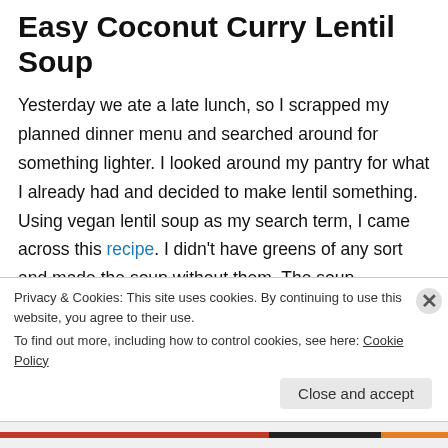Easy Coconut Curry Lentil Soup
Yesterday we ate a late lunch, so I scrapped my planned dinner menu and searched around for something lighter.  I looked around my pantry for what I already had and decided to make lentil something.  Using vegan lentil soup as my search term, I came across this recipe.  I didn't have greens of any sort and made the soup without them.  The soup fragranced my house with exotic curry and in short order, we were enjoying little bowls of this soup.  The original recipe says it freezes
Privacy & Cookies: This site uses cookies. By continuing to use this website, you agree to their use.
To find out more, including how to control cookies, see here: Cookie Policy